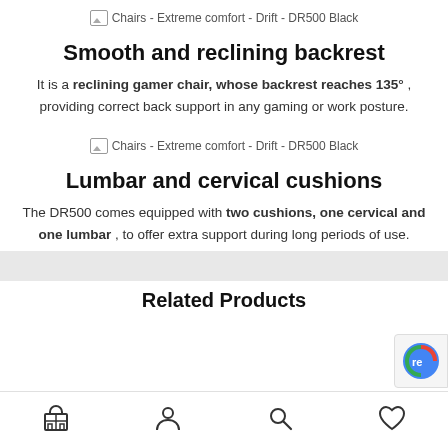[Figure (other): Broken image placeholder: Chairs - Extreme comfort - Drift - DR500 Black]
Smooth and reclining backrest
It is a reclining gamer chair, whose backrest reaches 135°, providing correct back support in any gaming or work posture.
[Figure (other): Broken image placeholder: Chairs - Extreme comfort - Drift - DR500 Black]
Lumbar and cervical cushions
The DR500 comes equipped with two cushions, one cervical and one lumbar, to offer extra support during long periods of use.
Related Products